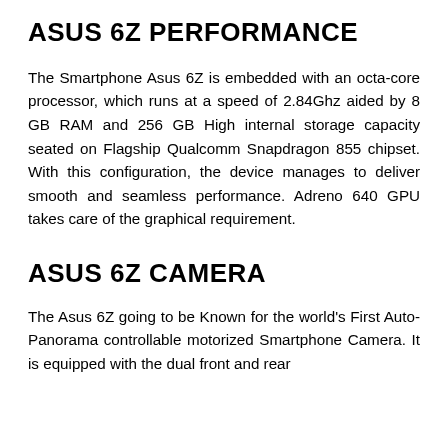ASUS 6Z PERFORMANCE
The Smartphone Asus 6Z is embedded with an octa-core processor, which runs at a speed of 2.84Ghz aided by 8 GB RAM and 256 GB High internal storage capacity seated on Flagship Qualcomm Snapdragon 855 chipset. With this configuration, the device manages to deliver smooth and seamless performance. Adreno 640 GPU takes care of the graphical requirement.
ASUS 6Z CAMERA
The Asus 6Z going to be Known for the world's First Auto-Panorama controllable motorized Smartphone Camera. It is equipped with the dual front and rear